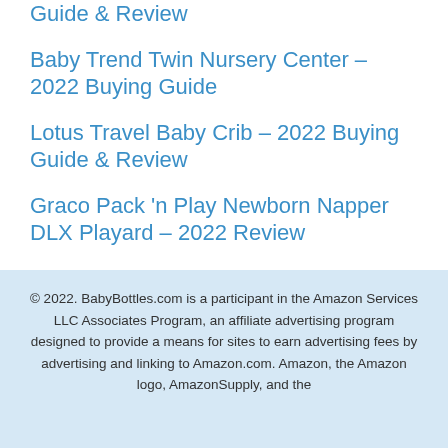Guide & Review
Baby Trend Twin Nursery Center – 2022 Buying Guide
Lotus Travel Baby Crib – 2022 Buying Guide & Review
Graco Pack 'n Play Newborn Napper DLX Playard – 2022 Review
Ingenuity Simple Comfort Cradling Swing, Everston – 2022 Review
© 2022. BabyBottles.com is a participant in the Amazon Services LLC Associates Program, an affiliate advertising program designed to provide a means for sites to earn advertising fees by advertising and linking to Amazon.com. Amazon, the Amazon logo, AmazonSupply, and the